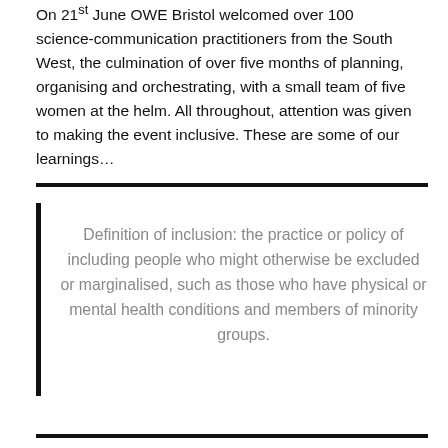On 21st June OWE Bristol welcomed over 100 science-communication practitioners from the South West, the culmination of over five months of planning, organising and orchestrating, with a small team of five women at the helm. All throughout, attention was given to making the event inclusive. These are some of our learnings…
Definition of inclusion: the practice or policy of including people who might otherwise be excluded or marginalised, such as those who have physical or mental health conditions and members of minority groups.